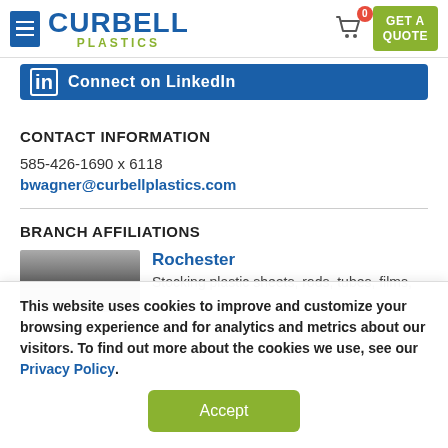Curbell Plastics - GET A QUOTE
[Figure (screenshot): LinkedIn connect banner button]
CONTACT INFORMATION
585-426-1690 x 6118
bwagner@curbellplastics.com
BRANCH AFFILIATIONS
Rochester
Stocking plastic sheets, rods, tubes, films,
This website uses cookies to improve and customize your browsing experience and for analytics and metrics about our visitors. To find out more about the cookies we use, see our Privacy Policy.
Accept